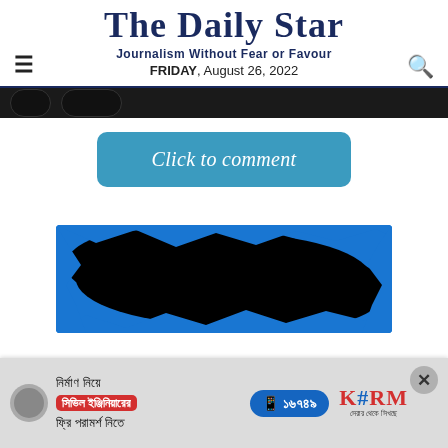The Daily Star
Journalism Without Fear or Favour
FRIDAY, August 26, 2022
[Figure (screenshot): Partially visible navigation strip with dark rounded buttons]
Click to comment
[Figure (photo): Partially visible image with blue background and black splotch/blob design, likely an advertisement or article image]
[Figure (infographic): Bottom banner advertisement in Bengali for civil engineering consultation with KSRM branding. Text: নির্মাণ নিয়ে সিভিল ইঞ্জিনিয়ারের ফ্রি পরামর্শ নিতে with phone number ১৬৭৪৯]